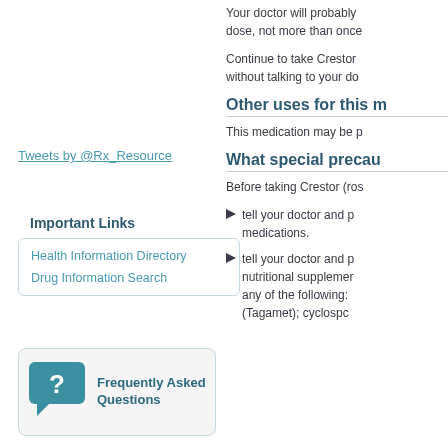Your doctor will probably dose, not more than once
Continue to take Crestor without talking to your do
Tweets by @Rx_Resource
Important Links
Health Information Directory
Drug Information Search
[Figure (infographic): Frequently Asked Questions button with teal question mark speech bubble icon]
Other uses for this m
This medication may be p
What special precau
Before taking Crestor (ros
tell your doctor and p medications.
tell your doctor and p nutritional supplemer any of the following: (Tagamet); cyclospc